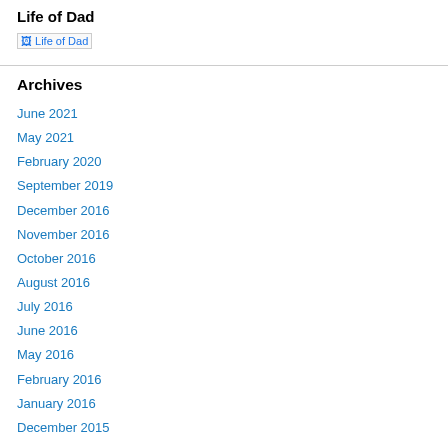Life of Dad
[Figure (illustration): Broken image placeholder for Life of Dad logo]
Archives
June 2021
May 2021
February 2020
September 2019
December 2016
November 2016
October 2016
August 2016
July 2016
June 2016
May 2016
February 2016
January 2016
December 2015